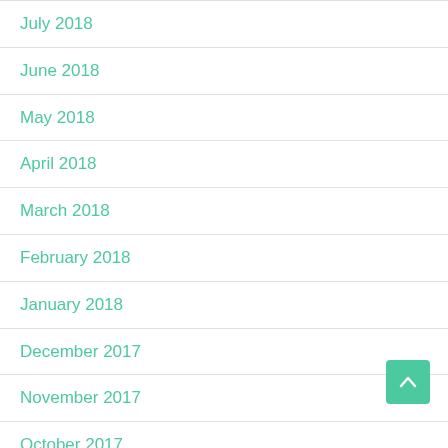July 2018
June 2018
May 2018
April 2018
March 2018
February 2018
January 2018
December 2017
November 2017
October 2017
September 2017
August 2017
July 2017